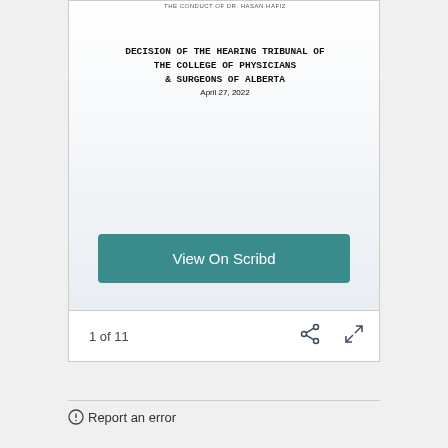THE CONDUCT OF DR. HASAN HAFIZ
DECISION OF THE HEARING TRIBUNAL OF THE COLLEGE OF PHYSICIANS & SURGEONS OF ALBERTA
April 27, 2022
[Figure (screenshot): View On Scribd button — teal/green rectangular button with white text]
1 of 11
Report an error